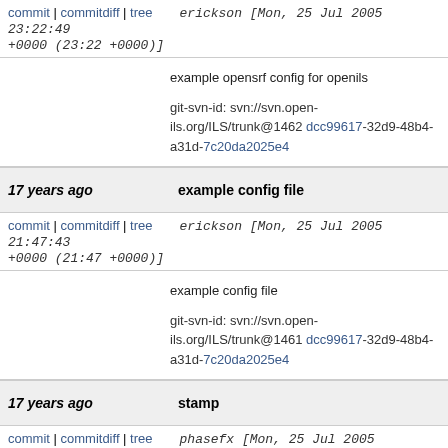commit | commitdiff | tree   erickson [Mon, 25 Jul 2005 23:22:49 +0000 (23:22 +0000)]
example opensrf config for openils

git-svn-id: svn://svn.open-ils.org/ILS/trunk@1462 dcc99617-32d9-48b4-a31d-7c20da2025e4
17 years ago   example config file
commit | commitdiff | tree   erickson [Mon, 25 Jul 2005 21:47:43 +0000 (21:47 +0000)]
example config file

git-svn-id: svn://svn.open-ils.org/ILS/trunk@1461 dcc99617-32d9-48b4-a31d-7c20da2025e4
17 years ago   stamp
commit | commitdiff | tree   phasefx [Mon, 25 Jul 2005 20:50:06 +0000 (20:50 +0000)]
stamp

git-svn-id: svn://svn.open-ils.org/ILS/trunk@1460 dcc99617-32d9-48b4-...